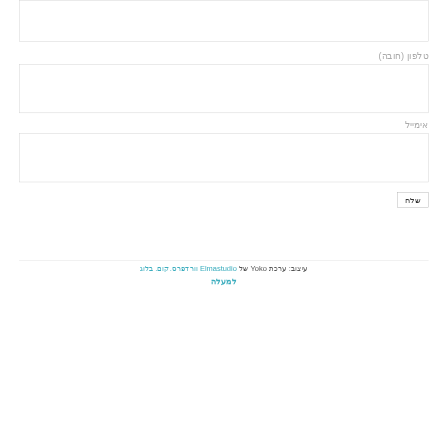[Figure (other): Top input box (text area, partially visible, no label visible)]
טלפון (חובה)
[Figure (other): Phone input field box]
אימייל
[Figure (other): Email input field box]
שלח
עיצוב: ערכת Yoko של Elmastudio .וורדפרס.קום בלוג
למעלה